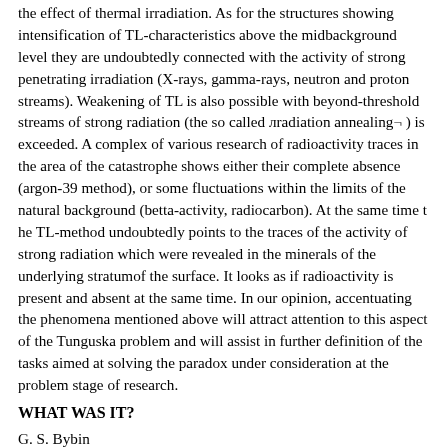the effect of thermal irradiation. As for the structures showing intensification of TL-characteristics above the midbackground level they are undoubtedly connected with the activity of strong penetrating irradiation (X-rays, gamma-rays, neutron and proton streams). Weakening of TL is also possible with beyond-threshold streams of strong radiation (the so called Пradiation annealing¬) is exceeded. A complex of various research of radioactivity traces in the area of the catastrophe shows either their complete absence (argon-39 method), or some fluctuations within the limits of the natural background (betta-activity, radiocarbon). At the same time t he TL-method undoubtedly points to the traces of the activity of strong radiation which were revealed in the minerals of the underlying stratumof the surface. It looks as if radioactivity is present and absent at the same time. In our opinion, accentuating the phenomena mentioned above will attract attention to this aspect of the Tunguska problem and will assist in further definition of the tasks aimed at solving the paradox under consideration at the problem stage of research.
WHAT WAS IT?
G. S. Bybin
Russia
The Tunguska meteorite is a Пdried¬ comet belonging to the